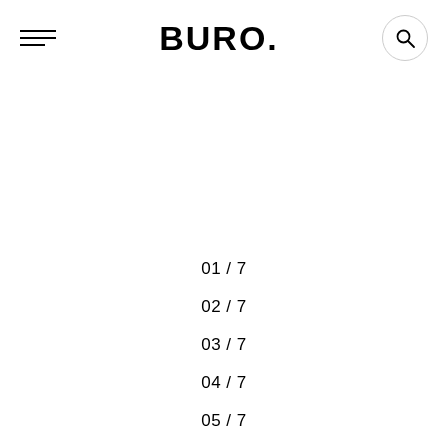BURO.
01 / 7
02 / 7
03 / 7
04 / 7
05 / 7